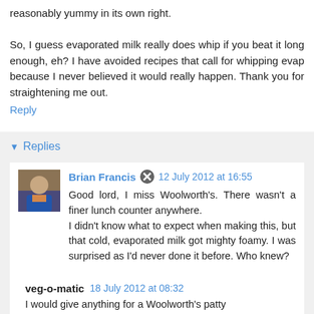reasonably yummy in its own right.
So, I guess evaporated milk really does whip if you beat it long enough, eh? I have avoided recipes that call for whipping evap because I never believed it would really happen. Thank you for straightening me out.
Reply
Replies
Brian Francis  12 July 2012 at 16:55
Good lord, I miss Woolworth's. There wasn't a finer lunch counter anywhere.
I didn't know what to expect when making this, but that cold, evaporated milk got mighty foamy. I was surprised as I'd never done it before. Who knew?
veg-o-matic  18 July 2012 at 08:32
I would give anything for a Woolworth's patty